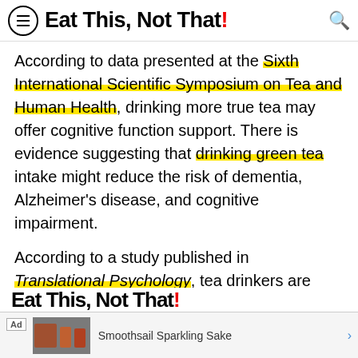Eat This, Not That!
According to data presented at the Sixth International Scientific Symposium on Tea and Human Health, drinking more true tea may offer cognitive function support. There is evidence suggesting that drinking green tea intake might reduce the risk of dementia, Alzheimer's disease, and cognitive impairment.
According to a study published in Translational Psychology, tea drinkers are 16% less likely to develop dementia compared with non-drinkers.
Ad — Smoothsail Sparkling Sake